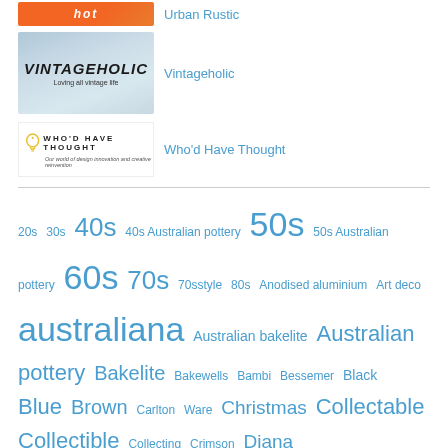[Figure (photo): Orange hot logo product photo with blue text link 'Urban Rustic']
[Figure (logo): Vintageholic logo – 'VINTAGEHOLIC / Loving all vintage life' on textured background, with blue link 'Vintageholic']
[Figure (logo): Who'd Have Thought logo with lightbulb icon and tagline 'Our world of design innovation and creative reinvention', with blue link 'Who'd Have Thought']
20s 30s 40s 40s Australian pottery 50s 50s Australian pottery 60s 70s 70sstyle 80s Anodised aluminium Art deco australiana Australian bakelite Australian pottery Bakelite Bakewells Bambi Bessemer Black Blue Brown Carlton Ware Christmas Collectable Collectible Collecting Crimson Diana